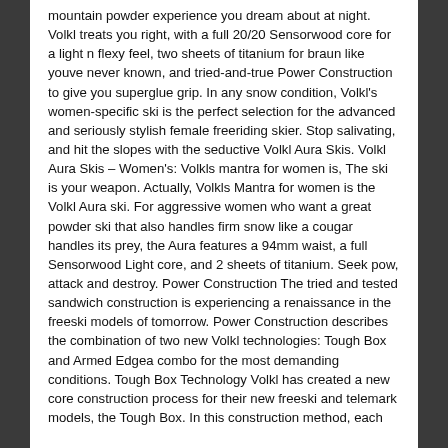mountain powder experience you dream about at night. Volkl treats you right, with a full 20/20 Sensorwood core for a light n flexy feel, two sheets of titanium for braun like youve never known, and tried-and-true Power Construction to give you superglue grip. In any snow condition, Volkl's women-specific ski is the perfect selection for the advanced and seriously stylish female freeriding skier. Stop salivating, and hit the slopes with the seductive Volkl Aura Skis. Volkl Aura Skis – Women's: Volkls mantra for women is, The ski is your weapon. Actually, Volkls Mantra for women is the Volkl Aura ski. For aggressive women who want a great powder ski that also handles firm snow like a cougar handles its prey, the Aura features a 94mm waist, a full Sensorwood Light core, and 2 sheets of titanium. Seek pow, attack and destroy. Power Construction The tried and tested sandwich construction is experiencing a renaissance in the freeski models of tomorrow. Power Construction describes the combination of two new Volkl technologies: Tough Box and Armed Edgea combo for the most demanding conditions. Tough Box Technology Volkl has created a new core construction process for their new freeski and telemark models, the Tough Box. In this construction method, each